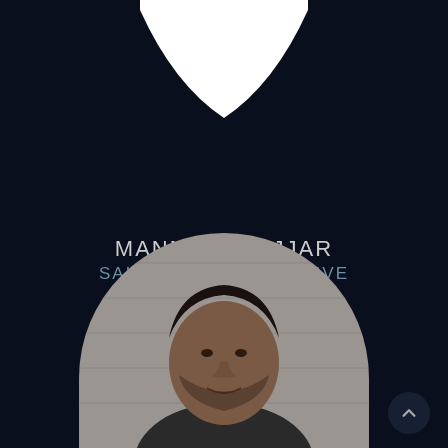[Figure (illustration): Dark navy background with a white hourglass/bowtie shaped cutout at the top center, creating a decorative geometric frame. Below is contact information for a real estate agent. At the bottom is a circular portrait photo of a man (Manmeet Nijjar) against a wooden wall background.]
MANMEET NIJJAR
SALES REPRESENTATIVE
O:905-793-5464
kingrealtybrokerage@gmail.com